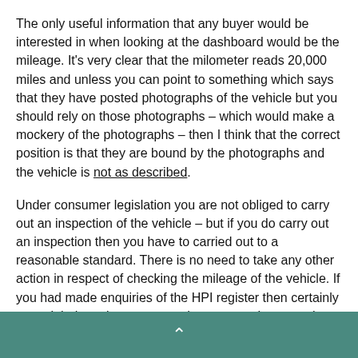The only useful information that any buyer would be interested in when looking at the dashboard would be the mileage. It's very clear that the milometer reads 20,000 miles and unless you can point to something which says that they have posted photographs of the vehicle but you should rely on those photographs – which would make a mockery of the photographs – then I think that the correct position is that they are bound by the photographs and the vehicle is not as described.
Under consumer legislation you are not obliged to carry out an inspection of the vehicle – but if you do carry out an inspection then you have to carried out to a reasonable standard. There is no need to take any other action in respect of checking the mileage of the vehicle. If you had made enquiries of the HPI register then certainly you might have been expected to react to the news that there is an inconsistency in the mileage. However, you are absolutely reasonable in relying upon the representations made by Copart.
It seems to me pretty clear that they use pictures of a different vehicle when advertising our auction. Of course, the information in the